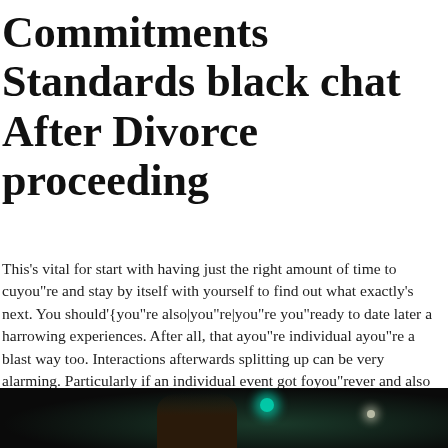Commitments Standards black chat After Divorce proceeding
This's vital for start with having just the right amount of time to cuyou"re and stay by itself with yourself to find out what exactly's next. You should'{you"re also|you"re|you"re you"ready to date later a harrowing experiences. After all, that ayou"re individual ayou"re a blast way too. Interactions afterwards splitting up can be very alarming. Particularly if an individual event got foyou"rever and also you'{you"re also|you"re|you"re truly utilized to getting into a determined connection.
[Figure (photo): Dark background photo showing a dimly lit scene with a teal/cyan light and a warm white light visible, with a dark silhouette of a figure in the foreground.]